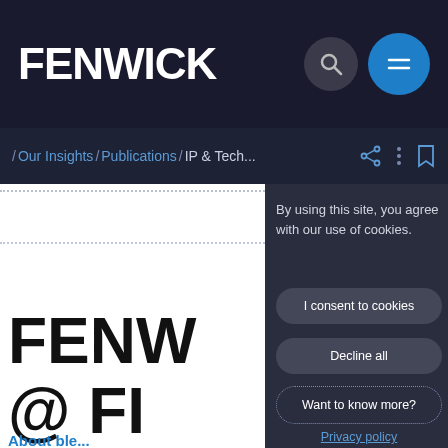FENWICK
/ Our Insights / Publications / IP & Tech...
By using this site, you agree with our use of cookies.
I consent to cookies
Decline all
Want to know more?
Privacy policy
FENW @F